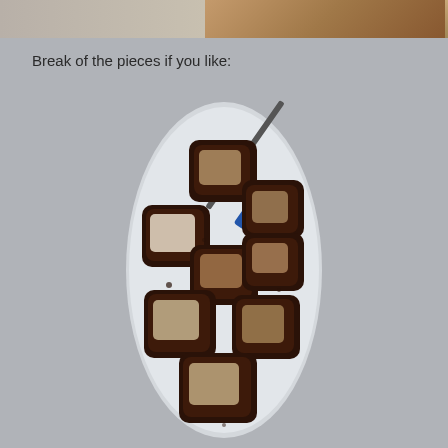[Figure (photo): Partial image visible at top of page showing what appears to be a baked or cooked food item on a surface.]
Break of the pieces if you like:
[Figure (photo): Photo of several pieces of dark chocolate-coated or heavily cooked cake/brownie pieces broken apart on a white plate, with a knife with a blue handle visible in the upper right.]